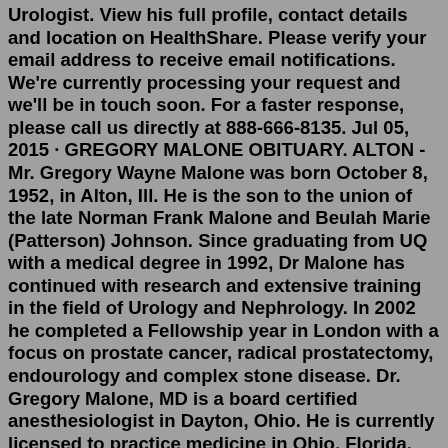Urologist. View his full profile, contact details and location on HealthShare. Please verify your email address to receive email notifications. We're currently processing your request and we'll be in touch soon. For a faster response, please call us directly at 888-666-8135. Jul 05, 2015 · GREGORY MALONE OBITUARY. ALTON - Mr. Gregory Wayne Malone was born October 8, 1952, in Alton, Ill. He is the son to the union of the late Norman Frank Malone and Beulah Marie (Patterson) Johnson. Since graduating from UQ with a medical degree in 1992, Dr Malone has continued with research and extensive training in the field of Urology and Nephrology. In 2002 he completed a Fellowship year in London with a focus on prostate cancer, radical prostatectomy, endourology and complex stone disease. Dr. Gregory Malone, MD is a board certified anesthesiologist in Dayton, Ohio. He is currently licensed to practice medicine in Ohio, Florida, and Indiana. He is affiliated with Northern Light Mercy Hospital. Dr Gregory Malone BMedSc, MBBS (Qld), FRACS